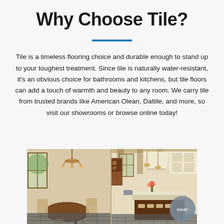Why Choose Tile?
Tile is a timeless flooring choice and durable enough to stand up to your toughest treatment. Since tile is naturally water-resistant, it's an obvious choice for bathrooms and kitchens, but tile floors can add a touch of warmth and beauty to any room. We carry tile from trusted brands like American Olean, Daltile, and more, so visit our showrooms or browse online today!
[Figure (photo): Two-panel interior photo showing a dining room with a round wooden table, chairs and chandelier on the left, and an upscale kitchen with dark island, cream cabinets, and pendant lights on the right. Dark tile floors visible. A chat bubble button labeled CHAT appears in the lower right.]